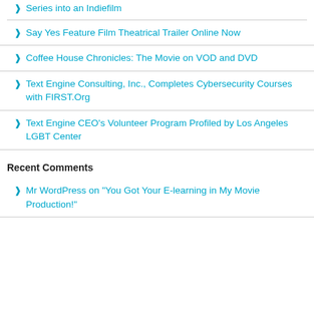Series into an Indiefilm
Say Yes Feature Film Theatrical Trailer Online Now
Coffee House Chronicles: The Movie on VOD and DVD
Text Engine Consulting, Inc., Completes Cybersecurity Courses with FIRST.Org
Text Engine CEO's Volunteer Program Profiled by Los Angeles LGBT Center
Recent Comments
Mr WordPress on “You Got Your E-learning in My Movie Production!”